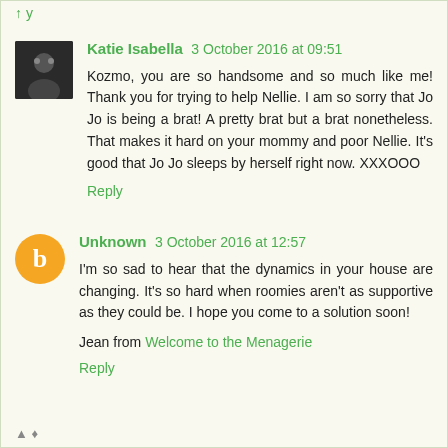Reply
Katie Isabella  3 October 2016 at 09:51
Kozmo, you are so handsome and so much like me! Thank you for trying to help Nellie. I am so sorry that Jo Jo is being a brat! A pretty brat but a brat nonetheless. That makes it hard on your mommy and poor Nellie. It's good that Jo Jo sleeps by herself right now. XXXOOO
Reply
Unknown  3 October 2016 at 12:57
I'm so sad to hear that the dynamics in your house are changing. It's so hard when roomies aren't as supportive as they could be. I hope you come to a solution soon!
Jean from Welcome to the Menagerie
Reply